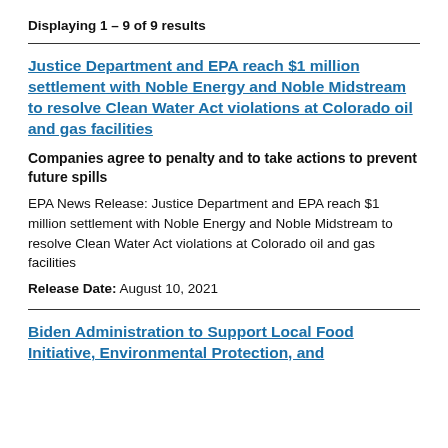Displaying 1 – 9 of 9 results
Justice Department and EPA reach $1 million settlement with Noble Energy and Noble Midstream to resolve Clean Water Act violations at Colorado oil and gas facilities
Companies agree to penalty and to take actions to prevent future spills
EPA News Release: Justice Department and EPA reach $1 million settlement with Noble Energy and Noble Midstream to resolve Clean Water Act violations at Colorado oil and gas facilities
Release Date: August 10, 2021
Biden Administration to Support Local Food Initiative, Environmental Protection, and